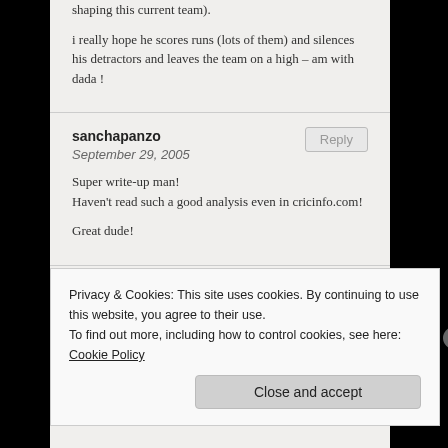shaping this current team).

i really hope he scores runs (lots of them) and silences his detractors and leaves the team on a high – am with dada !
sanchapanzo
September 29, 2005
Super write-up man!
Haven't read such a good analysis even in cricinfo.com!

Great dude!
Sriraam Selvam
Privacy & Cookies: This site uses cookies. By continuing to use this website, you agree to their use.
To find out more, including how to control cookies, see here: Cookie Policy
Close and accept